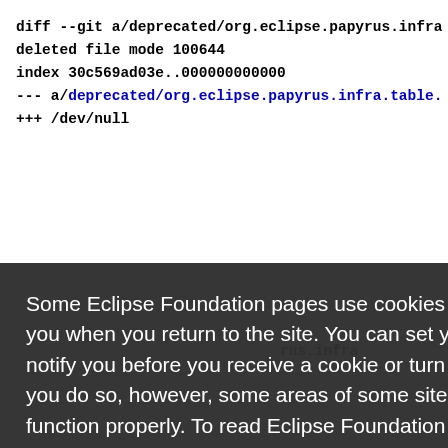diff --git a/deprecated/org.eclipse.papyrus.infra
deleted file mode 100644
index 30c569ad03e..000000000000
--- a/deprecated/org.eclipse.papyrus.infra.table.
+++ /dev/null
Some Eclipse Foundation pages use cookies to better serve you when you return to the site. You can set your browser to notify you before you receive a cookie or turn off cookies. If you do so, however, some areas of some sites may not function properly. To read Eclipse Foundation Privacy Policy
click here.
Decline
Allow cookies
deleted file mode 100644
index 7e3aecab7ed..000000000000